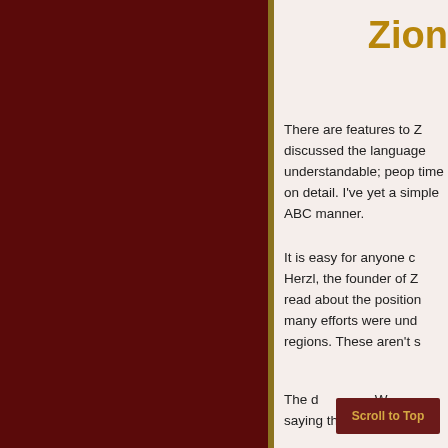Zion
There are features to Z discussed the language understandable; people time on detail. I've yet a simple ABC manner.
It is easy for anyone c Herzl, the founder of Z read about the position many efforts were und regions. These aren't s
The d W saying this. This has b
Scroll to Top